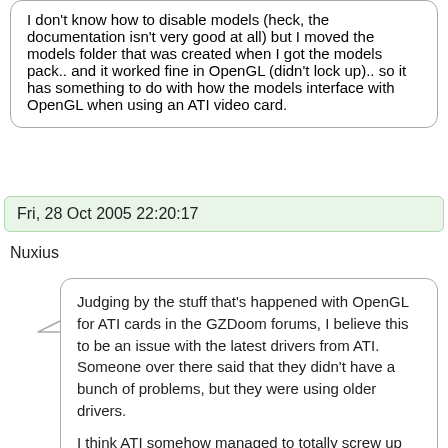I don't know how to disable models (heck, the documentation isn't very good at all) but I moved the models folder that was created when I got the models pack.. and it worked fine in OpenGL (didn't lock up).. so it has something to do with how the models interface with OpenGL when using an ATI video card.
Fri, 28 Oct 2005 22:20:17
Nuxius
Judging by the stuff that's happened with OpenGL for ATI cards in the GZDoom forums, I believe this to be an issue with the latest drivers from ATI. Someone over there said that they didn't have a bunch of problems, but they were using older drivers.

I think ATI somehow managed to totally screw up OpenGL with the latest Catalyst drivers.